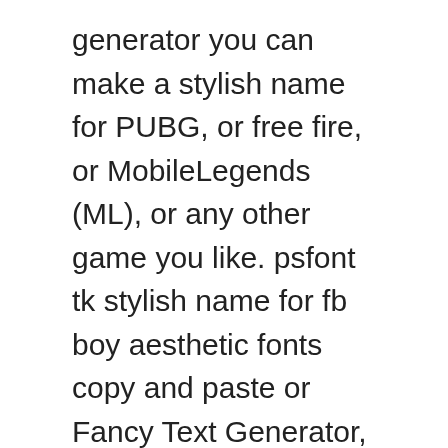generator you can make a stylish name for PUBG, or free fire, or MobileLegends (ML), or any other game you like. psfont tk stylish name for fb boy aesthetic fonts copy and paste or Fancy Text Generator, ps font fb stylish name, Best Font Converter Site psfonts.tk ps fonts – Psfonttk.com Fb stylish font wapka Convert your facebook name in a simple way stylish text generator for facebook name online Text fonts look like this: If you want to make your facebook profile Crazy then this font only for you you can use your own creativity to reflect your personality in your name. Convert your facebook simple name into a stylish name. Flip Side Stylish Fonts. A lot of young Boys & Girls use